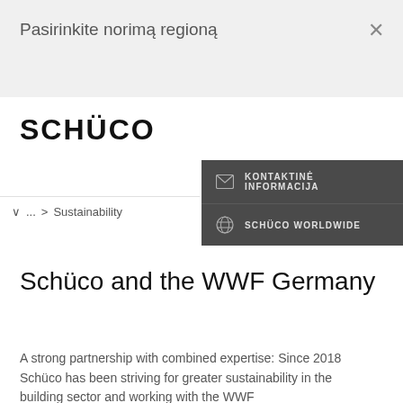Pasirinkite norimą regioną
[Figure (logo): Schüco logo in bold uppercase black text]
KONTAKTINĖ INFORMACIJA
SCHÜCO WORLDWIDE
∨  ...  > Sustainability
Schüco and the WWF Germany
A strong partnership with combined expertise: Since 2018 Schüco has been striving for greater sustainability in the building sector and working with the WWF